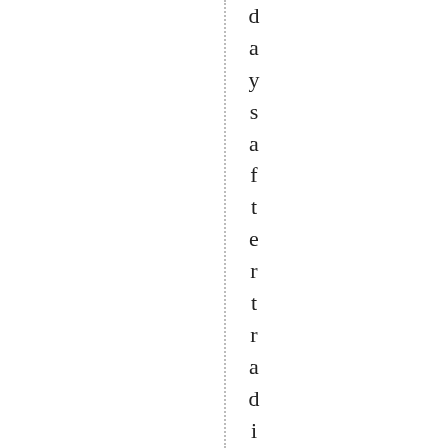days after trading nail back T